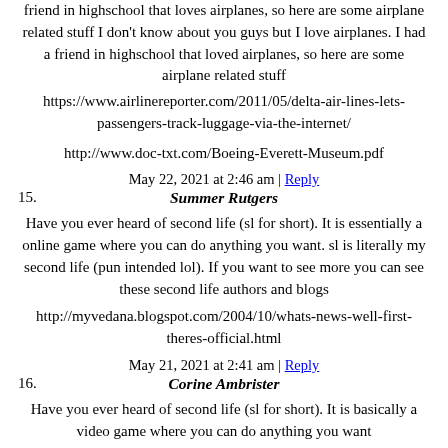friend in highschool that loves airplanes, so here are some airplane related stuff I don't know about you guys but I love airplanes. I had a friend in highschool that loved airplanes, so here are some airplane related stuff
https://www.airlinereporter.com/2011/05/delta-air-lines-lets-passengers-track-luggage-via-the-internet/
http://www.doc-txt.com/Boeing-Everett-Museum.pdf
May 22, 2021 at 2:46 am | Reply
15. Summer Rutgers
Have you ever heard of second life (sl for short). It is essentially a online game where you can do anything you want. sl is literally my second life (pun intended lol). If you want to see more you can see these second life authors and blogs
http://myvedana.blogspot.com/2004/10/whats-news-well-first-theres-official.html
May 21, 2021 at 2:41 am | Reply
16. Corine Ambrister
Have you ever heard of second life (sl for short). It is basically a video game where you can do anything you want